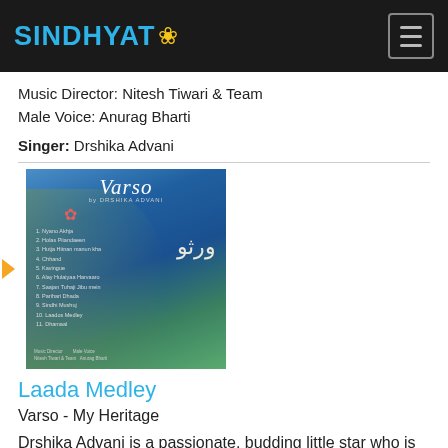SINDHYAT
Music Director: Nitesh Tiwari & Team
Male Voice: Anurag Bharti
Singer: Drshika Advani
[Figure (photo): Album cover for 'Varso - My Heritage' featuring a young girl with a flower in her hair, with song tracklist and Urdu script on the right side.]
Laada Medley
Varso - My Heritage
Drshika Advani is a passionate, budding little star who is sharing her musical heritage of